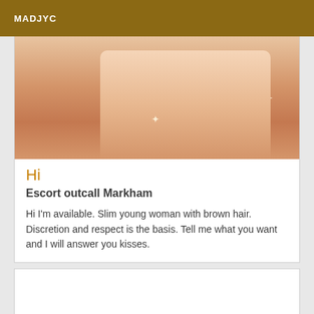MADJYC
[Figure (photo): Close-up photo of legs with sparkle effects on a light background]
Hi
Escort outcall Markham
Hi I'm available. Slim young woman with brown hair. Discretion and respect is the basis. Tell me what you want and I will answer you kisses.